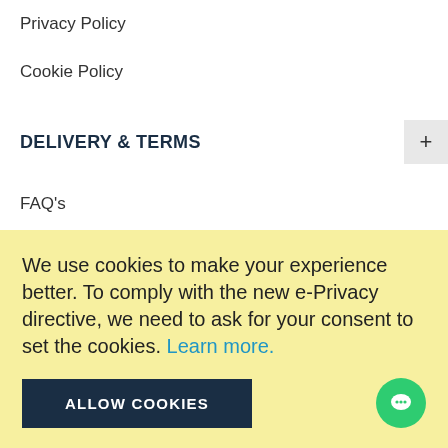Privacy Policy
Cookie Policy
DELIVERY & TERMS
FAQ's
Delivery & Returns
Terms & Conditions
Price Promise
IDEAS
We use cookies to make your experience better. To comply with the new e-Privacy directive, we need to ask for your consent to set the cookies. Learn more.
ALLOW COOKIES